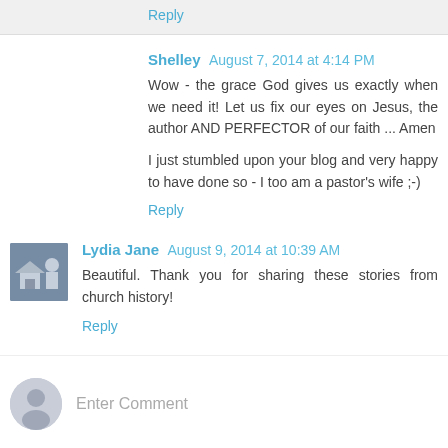Reply
Shelley August 7, 2014 at 4:14 PM
Wow - the grace God gives us exactly when we need it! Let us fix our eyes on Jesus, the author AND PERFECTOR of our faith ... Amen

I just stumbled upon your blog and very happy to have done so - I too am a pastor's wife ;-)
Reply
Lydia Jane August 9, 2014 at 10:39 AM
Beautiful. Thank you for sharing these stories from church history!
Reply
Enter Comment